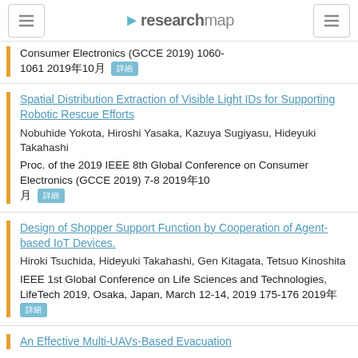researchmap
Consumer Electronics (GCCE 2019) 1060-1061 2019年10月
Spatial Distribution Extraction of Visible Light IDs for Supporting Robotic Rescue Efforts
Nobuhide Yokota, Hiroshi Yasaka, Kazuya Sugiyasu, Hideyuki Takahashi
Proc. of the 2019 IEEE 8th Global Conference on Consumer Electronics (GCCE 2019) 7-8 2019年10月
Design of Shopper Support Function by Cooperation of Agent-based IoT Devices.
Hiroki Tsuchida, Hideyuki Takahashi, Gen Kitagata, Tetsuo Kinoshita
IEEE 1st Global Conference on Life Sciences and Technologies, LifeTech 2019, Osaka, Japan, March 12-14, 2019 175-176 2019年
An Effective Multi-UAVs-Based Evacuation